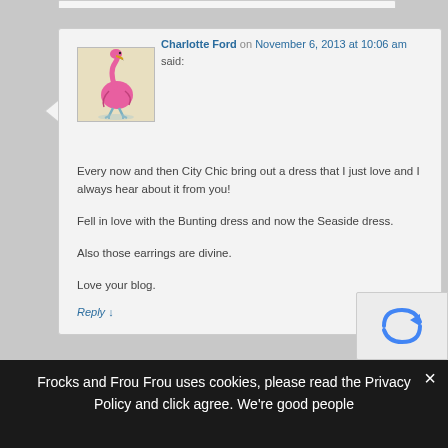[Figure (illustration): Pink flamingo illustration on a yellowish/cream background square]
Charlotte Ford on November 6, 2013 at 10:06 am said:
Every now and then City Chic bring out a dress that I just love and I always hear about it from you!
Fell in love with the Bunting dress and now the Seaside dress.
Also those earrings are divine.
Love your blog.
Reply ↓
Frocks and Frou Frou uses cookies, please read the Privacy Policy and click agree. We're good people